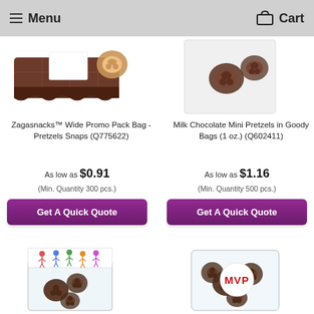Menu | Cart
[Figure (photo): Zagasnacks Wide Promo Pack Bag with chocolate bar and pretzel snaps]
Zagasnacks™ Wide Promo Pack Bag - Pretzels Snaps (Q775622)
As low as $0.91
(Min. Quantity 300 pcs.)
Get A Quick Quote
[Figure (photo): Milk Chocolate Mini Pretzels in Goody Bag white packaging]
Milk Chocolate Mini Pretzels in Goody Bags (1 oz.) (Q602411)
As low as $1.16
(Min. Quantity 500 pcs.)
Get A Quick Quote
[Figure (photo): Transparent bag with kids illustration header and dark chocolate pretzels inside]
[Figure (photo): Transparent bag with MVP sticker and dark chocolate pretzels]